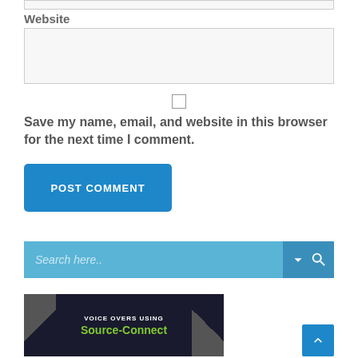Website
[Figure (screenshot): A website input text field (empty, light gray background)]
[Figure (screenshot): A checkbox (unchecked)]
Save my name, email, and website in this browser for the next time I comment.
[Figure (screenshot): POST COMMENT button in blue]
[Figure (screenshot): Search bar with placeholder 'Search here..' and dropdown/search icons]
[Figure (screenshot): Banner reading 'VOICE OVERS USING Source-Connect' in dark background with geometric shapes]
[Figure (screenshot): Back to top button (blue, upward chevron)]